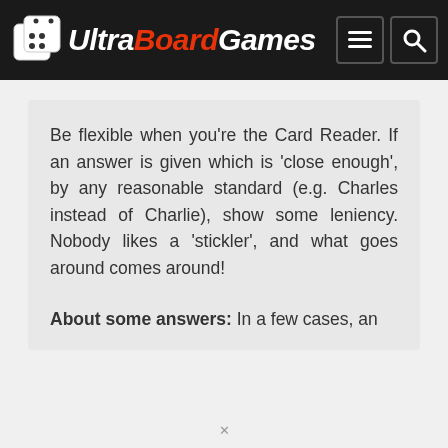UltraBoardGames
Be flexible when you're the Card Reader. If an answer is given which is 'close enough', by any reasonable standard (e.g. Charles instead of Charlie), show some leniency. Nobody likes a 'stickler', and what goes around comes around!
About some answers: In a few cases, an